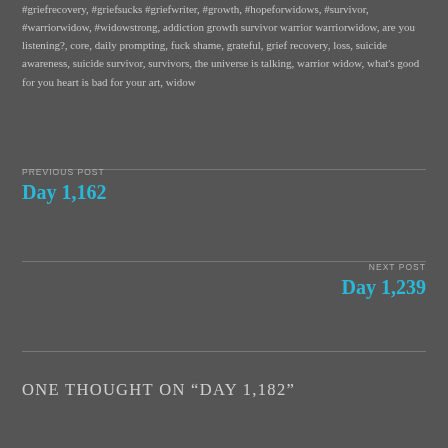#griefrecovery, #griefsucks #griefwriter, #growth, #hopeforwidows, #survivor, #warriorwidow, #widowstrong, addiction growth survivor warrior warriorwidow, are you listening?, core, daily prompting, fuck shame, grateful, grief recovery, loss, suicide awareness, suicide survivor, survivors, the universe is talking, warrior widow, what's good for you heart is bad for your art, widow
PREVIOUS POST
Day 1,162
NEXT POST
Day 1,239
ONE THOUGHT ON “DAY 1,182”